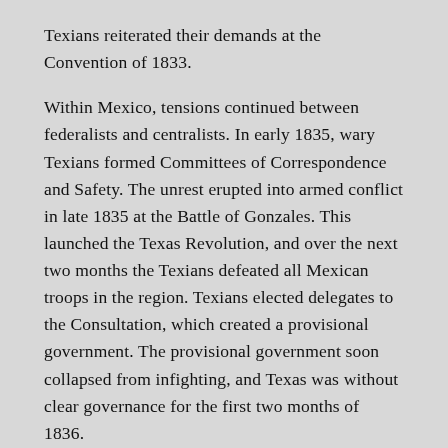Texians reiterated their demands at the Convention of 1833.
Within Mexico, tensions continued between federalists and centralists. In early 1835, wary Texians formed Committees of Correspondence and Safety. The unrest erupted into armed conflict in late 1835 at the Battle of Gonzales. This launched the Texas Revolution, and over the next two months the Texians defeated all Mexican troops in the region. Texians elected delegates to the Consultation, which created a provisional government. The provisional government soon collapsed from infighting, and Texas was without clear governance for the first two months of 1836.
During this time of political turmoil, Mexican President Antonio López de Santa Anna personally led